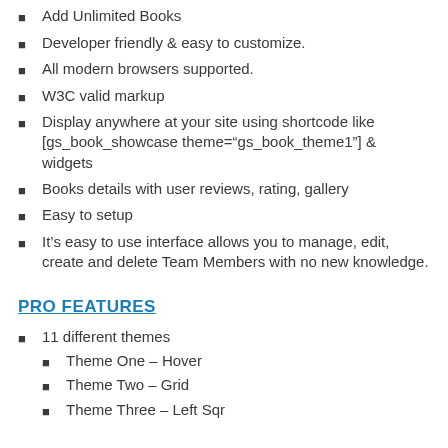Add Unlimited Books
Developer friendly & easy to customize.
All modern browsers supported.
W3C valid markup
Display anywhere at your site using shortcode like [gs_book_showcase theme="gs_book_theme1"] & widgets
Books details with user reviews, rating, gallery
Easy to setup
It's easy to use interface allows you to manage, edit, create and delete Team Members with no new knowledge.
PRO FEATURES
11 different themes
Theme One – Hover
Theme Two – Grid
Theme Three – Left Sqr